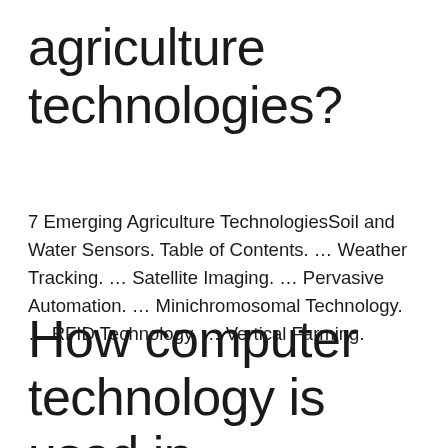agriculture technologies?
7 Emerging Agriculture TechnologiesSoil and Water Sensors. Table of Contents. … Weather Tracking. … Satellite Imaging. … Pervasive Automation. … Minichromosomal Technology. … RFID Technology. … Vertical Farming.
How computer technology is used in agriculture?